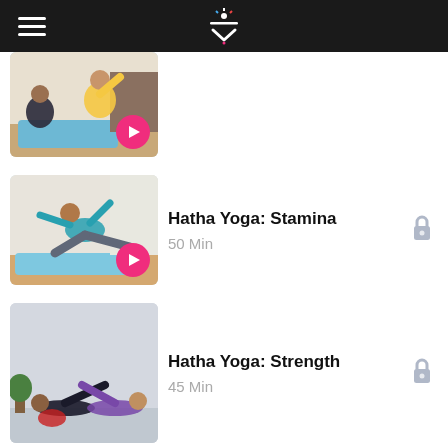[Figure (screenshot): App header bar with hamburger menu and logo]
[Figure (photo): Yoga instructor in yellow top doing a side stretch with student, play button overlay]
[Figure (photo): Person in teal top doing a yoga warrior pose on blue mat, play button overlay — Hatha Yoga: Stamina]
Hatha Yoga: Stamina
50 Min
[Figure (photo): Two people doing side stretch yoga pose — Hatha Yoga: Strength]
Hatha Yoga: Strength
45 Min